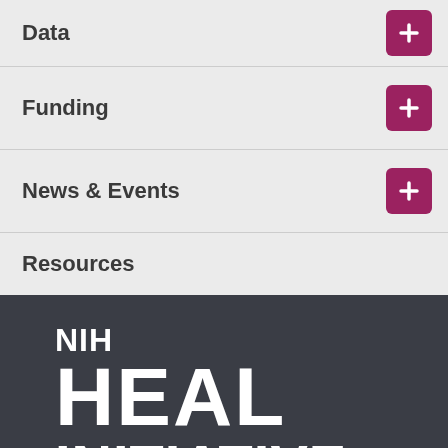Data
Funding
News & Events
Resources
NIH HEAL INITIATIVE
Contact Us